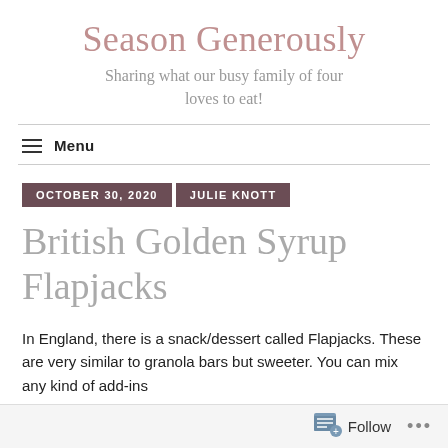Season Generously
Sharing what our busy family of four loves to eat!
Menu
OCTOBER 30, 2020   JULIE KNOTT
British Golden Syrup Flapjacks
In England, there is a snack/dessert called Flapjacks. These are very similar to granola bars but sweeter. You can mix any kind of add-ins
Follow ...